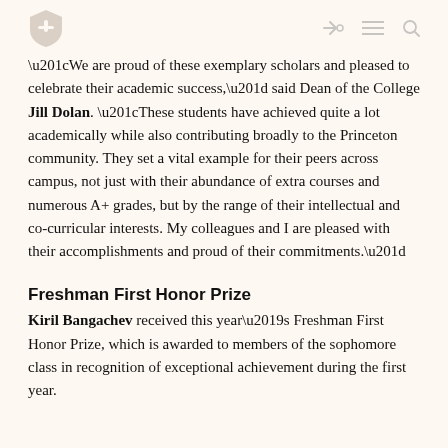“We are proud of these exemplary scholars and pleased to celebrate their academic success,” said Dean of the College Jill Dolan. “These students have achieved quite a lot academically while also contributing broadly to the Princeton community. They set a vital example for their peers across campus, not just with their abundance of extra courses and numerous A+ grades, but by the range of their intellectual and co-curricular interests. My colleagues and I are pleased with their accomplishments and proud of their commitments.”
Freshman First Honor Prize
Kiril Bangachev received this year’s Freshman First Honor Prize, which is awarded to members of the sophomore class in recognition of exceptional achievement during the first year.